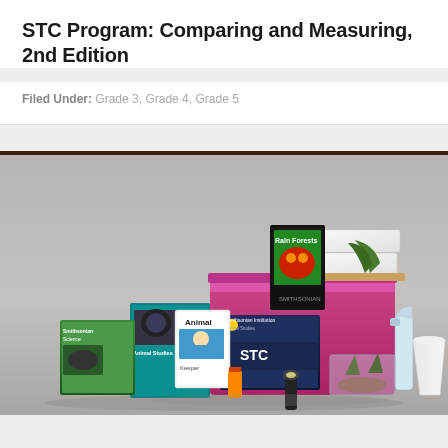STC Program: Comparing and Measuring, 2nd Edition
Filed Under: Grade 3, Grade 4, Grade 5
[Figure (photo): Photo of an STC (Science and Technology for Children) educational kit showing various items including books (Rain Forests), an STC science box, animal studies materials, a spray bottle, foam cup, and other science supplies arranged on a gray background.]